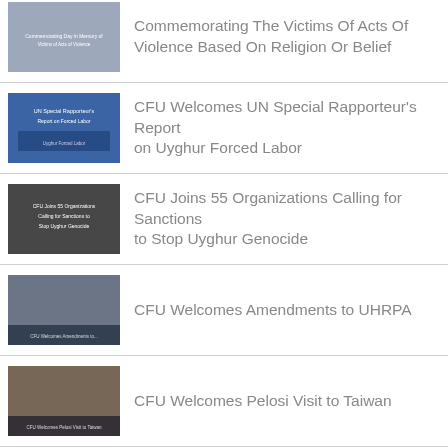Commemorating The Victims Of Acts Of Violence Based On Religion Or Belief
CFU Welcomes UN Special Rapporteur's Report on Uyghur Forced Labor
CFU Joins 55 Organizations Calling for Sanctions to Stop Uyghur Genocide
CFU Welcomes Amendments to UHRPA
CFU Welcomes Pelosi Visit to Taiwan
CFU Commemorates 8th Anniversary of Yarkand Massacre
CFU Demands UN Release Report